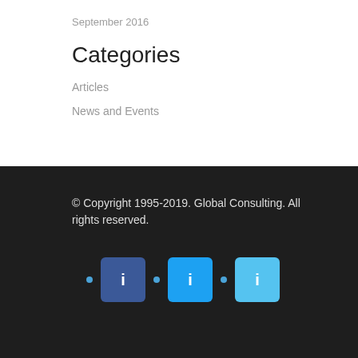September 2016
Categories
Articles
News and Events
© Copyright 1995-2019. Global Consulting. All rights reserved.
[Figure (other): Three social media icon buttons (dark blue, medium blue, light blue) with small blue dots between them]